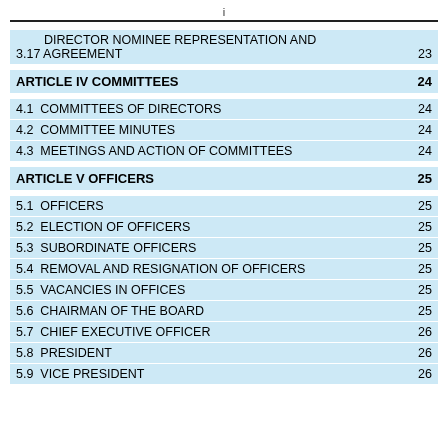i
| Section | Title | Page |
| --- | --- | --- |
| 3.17 | DIRECTOR NOMINEE REPRESENTATION AND AGREEMENT | 23 |
| ARTICLE IV | COMMITTEES | 24 |
| 4.1 | COMMITTEES OF DIRECTORS | 24 |
| 4.2 | COMMITTEE MINUTES | 24 |
| 4.3 | MEETINGS AND ACTION OF COMMITTEES | 24 |
| ARTICLE V | OFFICERS | 25 |
| 5.1 | OFFICERS | 25 |
| 5.2 | ELECTION OF OFFICERS | 25 |
| 5.3 | SUBORDINATE OFFICERS | 25 |
| 5.4 | REMOVAL AND RESIGNATION OF OFFICERS | 25 |
| 5.5 | VACANCIES IN OFFICES | 25 |
| 5.6 | CHAIRMAN OF THE BOARD | 25 |
| 5.7 | CHIEF EXECUTIVE OFFICER | 26 |
| 5.8 | PRESIDENT | 26 |
| 5.9 | VICE PRESIDENT | 26 |